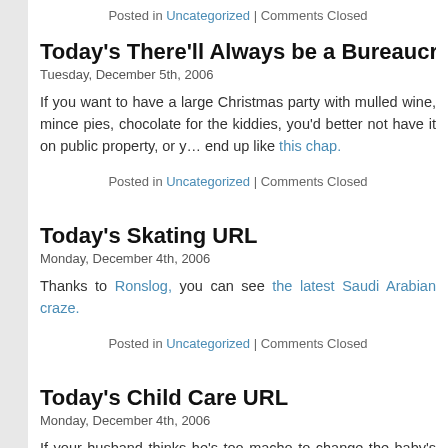Posted in Uncategorized | Comments Closed
Today's There'll Always be a Bureaucratic England URL
Tuesday, December 5th, 2006
If you want to have a large Christmas party with mulled wine, mince pies, chocolate for the kiddies, you'd better not have it on public property, or you'll end up like this chap.
Posted in Uncategorized | Comments Closed
Today's Skating URL
Monday, December 4th, 2006
Thanks to Ronslog, you can see the latest Saudi Arabian craze.
Posted in Uncategorized | Comments Closed
Today's Child Care URL
Monday, December 4th, 2006
If your husband thinks he's too macho to change the baby's nappies from a blue or pink nappy bag, then buy him this. Guaranteed to make even the macho father dissolve into tears of joy when he gets out the bag and take…